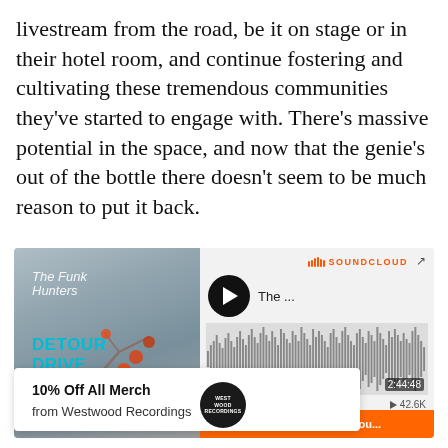livestream from the road, be it on stage or in their hotel room, and continue fostering and cultivating these tremendous communities they've started to engage with. There's massive potential in the space, and now that the genie's out of the bottle there doesn't seem to be much reason to put it back.
[Figure (screenshot): SoundCloud embedded player showing 'Detour Drive' podcast episode with play button, waveform visualization showing 2:44:48 duration, 42.6K plays, album art with berries illustration and text 'DETOUR DRIVE', 'SKITOUR', 'DJ MARY MAC']
10% Off All Merch
from Westwood Recordings